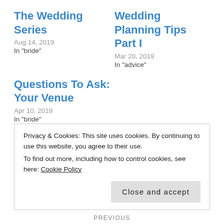The Wedding Series
Aug 14, 2019
In "bride"
Wedding Planning Tips Part I
Mar 20, 2019
In "advice"
Questions To Ask: Your Venue
Apr 10, 2019
In "bride"
TAGS  BAKER, BRIDE, BRIDE TO BE, CAKE, PLANNING, QUESTIONS TO ASK, THE WEDDING SERIES, WEDDING, WEDDING CAKE, WEDDING PLANNING, WEDDING PLAN...
Privacy & Cookies: This site uses cookies. By continuing to use this website, you agree to their use.
To find out more, including how to control cookies, see here: Cookie Policy
Close and accept
PREVIOUS